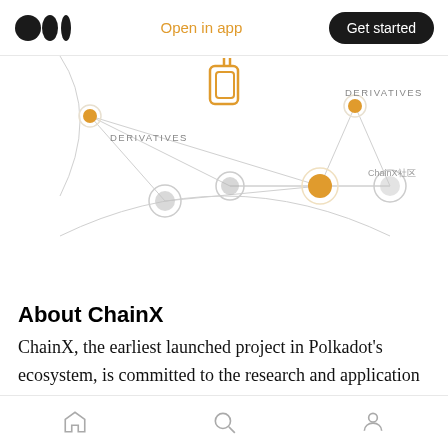Open in app | Get started
[Figure (network-graph): Network diagram showing interconnected nodes with orange and grey circles. Labels read 'DERIVATIVES' on left and right sides, and 'ChainX社区' on right. Central area shows an orange outlined logo/symbol. Nodes connected by light grey lines.]
About ChainX
ChainX, the earliest launched project in Polkadot's ecosystem, is committed to the research and application of Bitcoin layer 2 expansion, digital asset gateway, and Polkadot second-layer relay chain, to realize cross-chain asset exchange, leading the new direction of
Home | Search | Profile